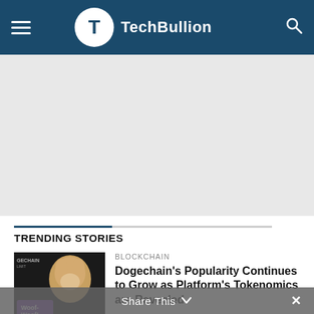TechBullion
[Figure (other): Advertisement placeholder area (gray background)]
TRENDING STORIES
BLOCKCHAIN
Dogechain's Popularity Continues to Grow as Platform's Tokenomics are Revealed
[Figure (photo): Dogechain article thumbnail showing a Shiba Inu dog with text 'GECHAIN' and 'Woof-Woof!' on a dark background]
Share This